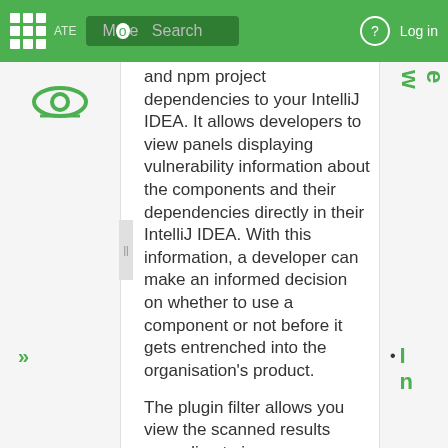Mode Search | Log in
and npm project dependencies to your IntelliJ IDEA. It allows developers to view panels displaying vulnerability information about the components and their dependencies directly in their IntelliJ IDEA. With this information, a developer can make an informed decision on whether to use a component or not before it gets entrenched into the organisation's product.
The plugin filter allows you view the scanned results according to issues or licenses.
[Figure (screenshot): Screenshot of JFrog plugin panel in IntelliJ IDEA showing Issues and Licenses Info tabs, a toolbar with filter icons and Severity filter, Components Tree header, and com.atlassian.bamboo:atlassian- tree item]